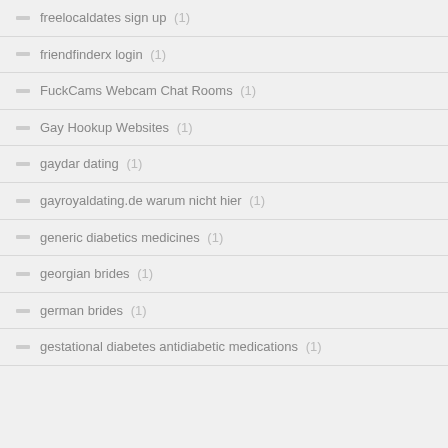freelocaldates sign up (1)
friendfinderx login (1)
FuckCams Webcam Chat Rooms (1)
Gay Hookup Websites (1)
gaydar dating (1)
gayroyaldating.de warum nicht hier (1)
generic diabetics medicines (1)
georgian brides (1)
german brides (1)
gestational diabetes antidiabetic medications (1)